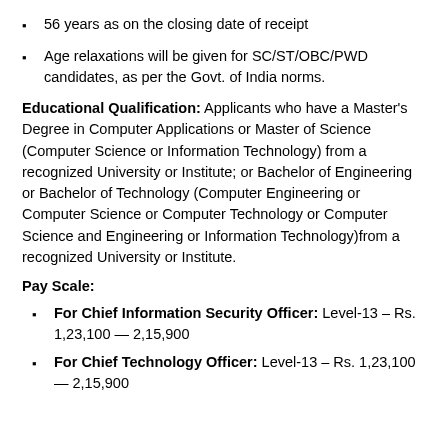56 years as on the closing date of receipt
Age relaxations will be given for SC/ST/OBC/PWD candidates, as per the Govt. of India norms.
Educational Qualification: Applicants who have a Master's Degree in Computer Applications or Master of Science (Computer Science or Information Technology) from a recognized University or Institute; or Bachelor of Engineering or Bachelor of Technology (Computer Engineering or Computer Science or Computer Technology or Computer Science and Engineering or Information Technology)from a recognized University or Institute.
Pay Scale:
For Chief Information Security Officer: Level-13 – Rs. 1,23,100 — 2,15,900
For Chief Technology Officer: Level-13 – Rs. 1,23,100 — 2,15,900